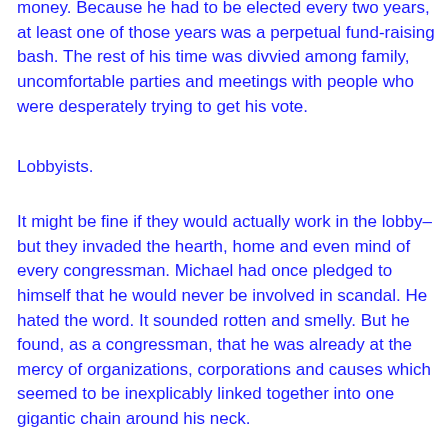money. Because he had to be elected every two years, at least one of those years was a perpetual fund-raising bash. The rest of his time was divvied among family, uncomfortable parties and meetings with people who were desperately trying to get his vote.
Lobbyists.
It might be fine if they would actually work in the lobby–but they invaded the hearth, home and even mind of every congressman. Michael had once pledged to himself that he would never be involved in scandal. He hated the word. It sounded rotten and smelly. But he found, as a congressman, that he was already at the mercy of organizations, corporations and causes which seemed to be inexplicably linked together into one gigantic chain around his neck.